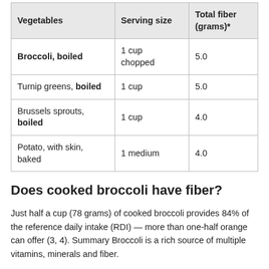| Vegetables | Serving size | Total fiber (grams)* |
| --- | --- | --- |
| Broccoli, boiled | 1 cup chopped | 5.0 |
| Turnip greens, boiled | 1 cup | 5.0 |
| Brussels sprouts, boiled | 1 cup | 4.0 |
| Potato, with skin, baked | 1 medium | 4.0 |
Does cooked broccoli have fiber?
Just half a cup (78 grams) of cooked broccoli provides 84% of the reference daily intake (RDI) — more than one-half orange can offer (3, 4). Summary Broccoli is a rich source of multiple vitamins, minerals and fiber.